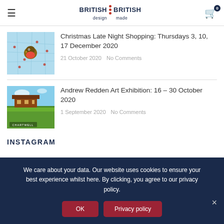BRITISH design | BRITISH made — navigation header with hamburger menu and cart (0)
[Figure (photo): Thumbnail image of a robin on a decorative map background]
Christmas Late Night Shopping: Thursdays 3, 10, 17 December 2020
21 October 2020   No Comments
[Figure (photo): Thumbnail image of Chartwell house with blue sky and green hedge]
Andrew Redden Art Exhibition: 16 – 30 October 2020
1 September 2020   No Comments
INSTAGRAM
We care about your data. Our website uses cookies to ensure your best experience whilst here. By clicking, you agree to our privacy policy.
OK   Privacy policy